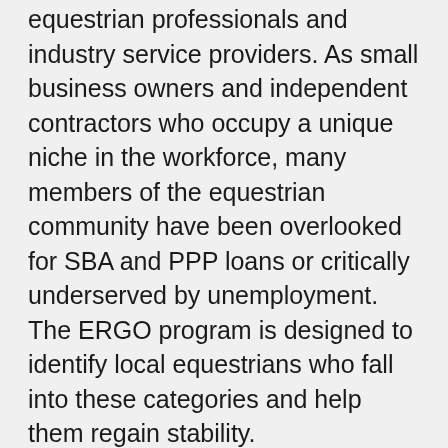equestrian professionals and industry service providers. As small business owners and independent contractors who occupy a unique niche in the workforce, many members of the equestrian community have been overlooked for SBA and PPP loans or critically underserved by unemployment. The ERGO program is designed to identify local equestrians who fall into these categories and help them regain stability.
"Last March, we opened our first COVID Emergency Grant program within a week of the industry shutdown to quickly help workers in crisis as they figured out their next steps," said EAF board member Louise Riggio. "The applicant data from this ongoing program demonstrates just how hard hit our equestrian community has been."